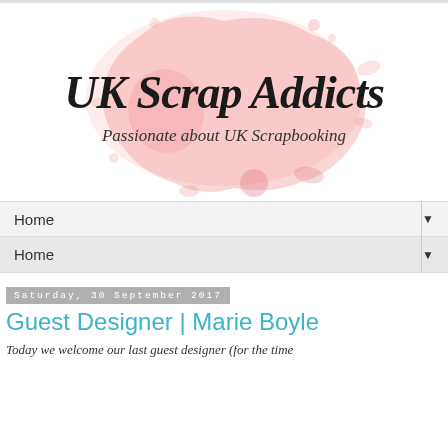[Figure (logo): UK Scrap Addicts logo with pink watercolor splash background. Text reads 'UK Scrap Addicts' in handwritten script and 'Passionate about UK Scrapbooking' below.]
Home ▼
Home ▼
Saturday, 30 September 2017
Guest Designer | Marie Boyle
Today we welcome our last guest designer (for the time